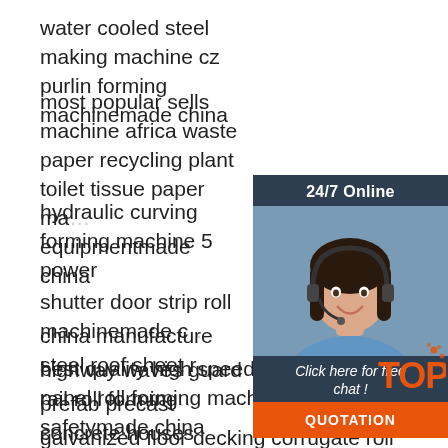water cooled steel making machine cz purlin forming machinemade china
most popular sells machine africa waste paper recycling plant toilet tissue paper ma... equipmentmade china
hydraulic curving forming machine 5 power
shutter door strip roll machinemade c...
china manufacture steel roof sheet r...
highway waves guard rail roll forming...
prefab precast concrete houses proc... house machinery
best quality high speed highway guardrail panel roll forming machine road safetymade china
galvanized floor decking corrugate roll machine punching hole ladder cable tray machine
[Figure (other): Chat widget showing a customer service representative with headset. Header reads '24/7 Online', subtext 'Click here for free chat!', and an orange button labeled 'QUOTATION'.]